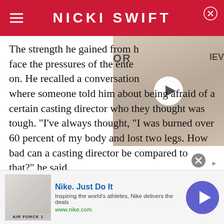NICKI SWIFT
[Figure (photo): Video thumbnail showing a young male celebrity with a play button overlay]
The strength he gained from h... face the pressures of the ente... on. He recalled a conversation where someone told him about being afraid of a certain casting director who they thought was tough. "I've always thought, "I was burned over 60 percent of my body and lost two legs. How bad can a casting director be compared to that?" he said.
[Figure (screenshot): Nike advertisement banner: Nike. Just Do It - Inspiring the world's athletes, Nike delivers the deals - www.nike.com]